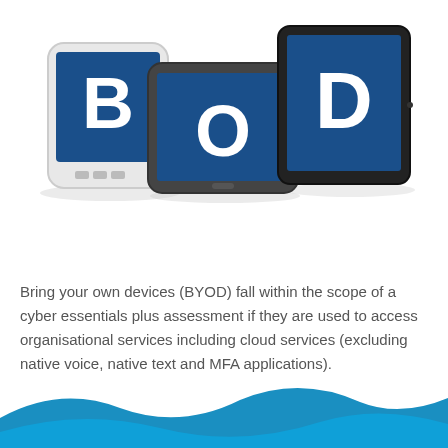[Figure (illustration): BYOD illustration showing three devices (a small white device, a smartphone, and a tablet) each displaying one letter of B, Y, O, D in white on a dark blue background]
Bring your own devices (BYOD) fall within the scope of a cyber essentials plus assessment if they are used to access organisational services including cloud services (excluding native voice, native text and MFA applications).